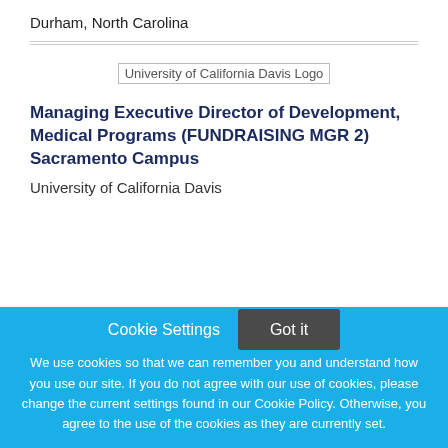Durham, North Carolina
[Figure (logo): University of California Davis Logo placeholder image]
Managing Executive Director of Development, Medical Programs (FUNDRAISING MGR 2) Sacramento Campus
University of California Davis
Cookie Settings
Got it
We use cookies so that we can remember you and understand how you use our site. If you do not agree with our use of cookies, please change the current settings found in our Cookie Policy. Otherwise, you agree to the use of the cookies as they are currently set.